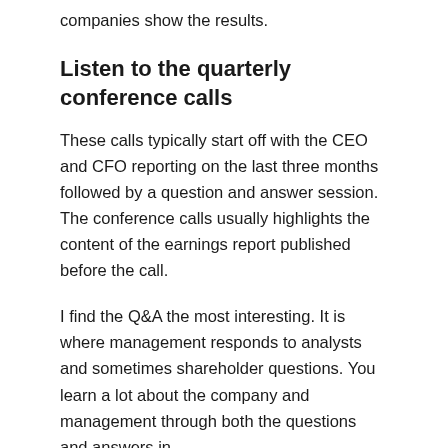companies show the results.
Listen to the quarterly conference calls
These calls typically start off with the CEO and CFO reporting on the last three months followed by a question and answer session. The conference calls usually highlights the content of the earnings report published before the call.
I find the Q&A the most interesting. It is where management responds to analysts and sometimes shareholder questions. You learn a lot about the company and management through both the questions and answers in